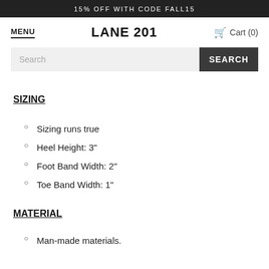15% OFF WITH CODE FALL15
MENU
LANE 201
Cart (0)
Search
SIZING
Sizing runs true
Heel Height: 3"
Foot Band Width: 2"
Toe Band Width: 1"
MATERIAL
Man-made materials.